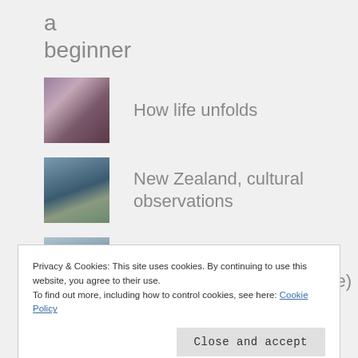a beginner
How life unfolds
New Zealand, cultural observations
Mystical shots from the treasure trove (Yellowstone)
Privacy & Cookies: This site uses cookies. By continuing to use this website, you agree to their use. To find out more, including how to control cookies, see here: Cookie Policy
Close and accept